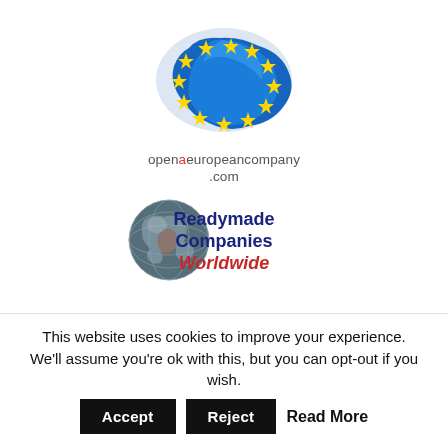[Figure (logo): European map with EU stars logo above text 'openaeuropeancompany.com']
[Figure (logo): Globe icon with text 'Readymade Companies Worldwide' in blue and red]
[Figure (logo): Partial US flag/map logo at bottom, partially visible]
This website uses cookies to improve your experience. We'll assume you're ok with this, but you can opt-out if you wish. Accept Reject Read More